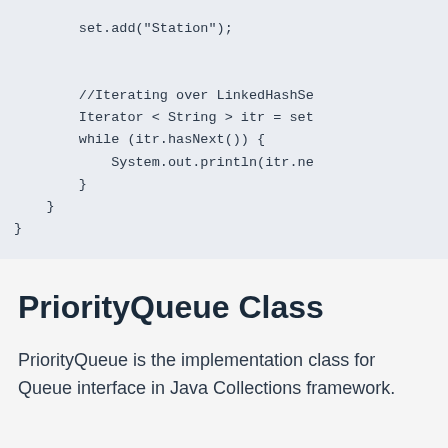set.add("Station");

        //Iterating over LinkedHashSe
        Iterator < String > itr = set
        while (itr.hasNext()) {
            System.out.println(itr.ne
        }
    }
}
PriorityQueue Class
PriorityQueue is the implementation class for Queue interface in Java Collections framework.